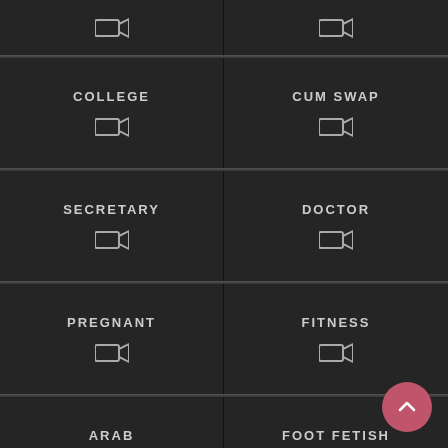[Figure (screenshot): Grid of category tiles on a dark background. Top partial row shows two camera icons. Then rows: COLLEGE / CUM SWAP, SECRETARY / DOCTOR, PREGNANT / FITNESS, ARAB / FOOT FETISH. Each tile has a label and a camera icon. A pink circular scroll-to-top button is in the bottom right corner.]